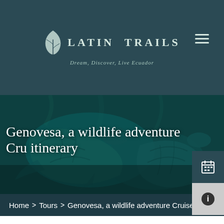[Figure (logo): Latin Trails logo with leaf/map icon and tagline 'Dream, Discover, Live Ecuador' on dark teal background]
[Figure (photo): Underwater photo of sea turtles in teal/dark water, used as hero image background]
Genovesa, a wildlife adventure Cruise itinerary
Home > Tours > Genovesa, a wildlife adventure Cruise i
Genovesa is one of the most remote islands in Galapagos, but it's also one of the most